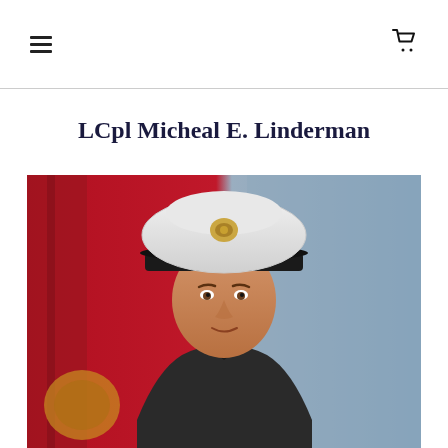≡  🛒
LCpl Micheal E. Linderman
[Figure (photo): Portrait photograph of LCpl Micheal E. Linderman in US Marine Corps dress uniform with white cover (hat) bearing the Eagle Globe and Anchor emblem. An American flag and Marine Corps flag are visible in the background. The photo appears to be an official military portrait.]